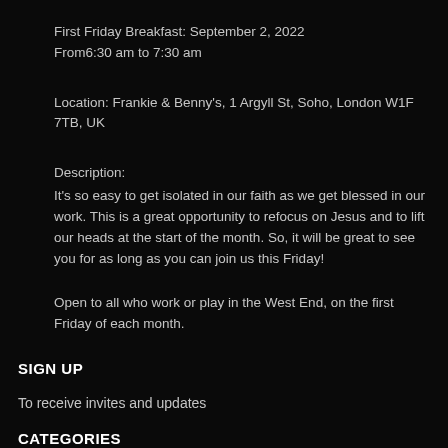First Friday Breakfast: September 2, 2022
From6:30 am to 7:30 am
Location: Frankie & Benny's, 1 Argyll St, Soho, London W1F 7TB, UK
Description:
It's so easy to get isolated in our faith as we get blessed in our work. This is a great opportunity to refocus on Jesus and to lift our heads at the start of the month. So, it will be great to see you for as long as you can join us this Friday!
Open to all who work or play in the West End, on the first Friday of each month.
SIGN UP
To receive invites and updates
CATEGORIES